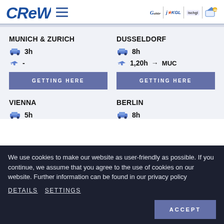CREW [logo] | Galtür | JAKGL | [partner] | see [partner]
MUNICH & ZURICH
3h (car)
- (plane)
GETTING HERE
DUSSELDORF
8h (car)
1,20h → MUC (plane)
GETTING HERE
VIENNA
5h (car, partially visible)
BERLIN
8h (car, partially visible)
We use cookies to make our website as user-friendly as possible. If you continue, we assume that you agree to the use of cookies on our website. Further information can be found in our privacy policy
DETAILS  SETTINGS
ACCEPT